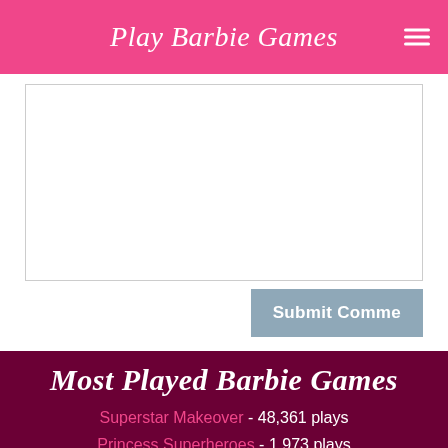Play Barbie Games
[Comment text area]
Submit Comment
Most Played Barbie Games
Superstar Makeover - 48,361 plays
Princess Superheroes - 1,973 plays
New Year Party Dressup - 54,354 plays
Barbie Beige Fashion - 35,002 plays
Barbie Prom Pants - 33,918 plays
Cute Barbie Dog - 24,503 plays